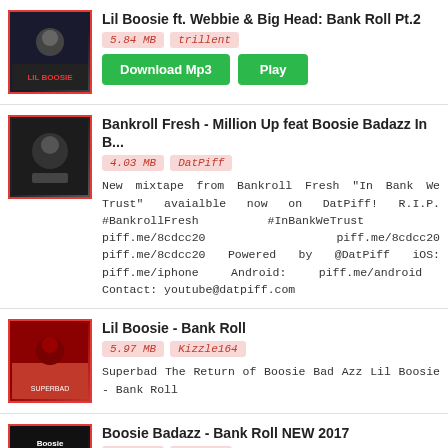Lil Boosie ft. Webbie & Big Head: Bank Roll Pt.2 | 5.84 MB | trillent | Download Mp3 | Play
Bankroll Fresh - Million Up feat Boosie Badazz In B... | 4.03 MB | DatPiff | New mixtape from Bankroll Fresh "In Bank We Trust" avaialble now on DatPiff! R.I.P. #BankrollFresh #InBankWeTrust piff.me/8cdcc20 piff.me/8cdcc20 piff.me/8cdcc20 Powered by @DatPiff iOS: piff.me/iphone Android: piff.me/android Contact: youtube@datpiff.com
Lil Boosie - Bank Roll | 5.97 MB | Kizzle164 | Superbad The Return of Boosie Bad Azz Lil Boosie - Bank Roll
Boosie Badazz - Bank Roll NEW 2017 | 5.95 MB | 505TUBE | Like , Subscribe and share for more Boosie Badazz musics
Lil Boosie - Bankroll Dance WaveyWuanTv mohead... | 5.79 MB | WaveyWuan Tv